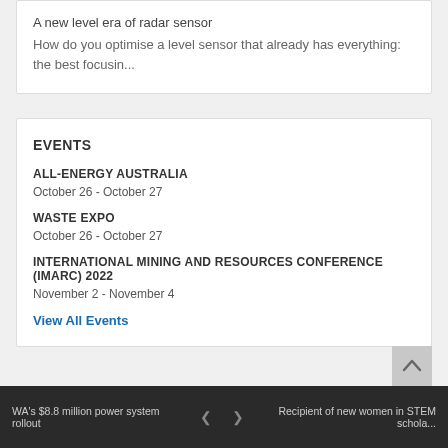A new level era of radar sensor
How do you optimise a level sensor that already has everything: the best focusin...
EVENTS
ALL-ENERGY AUSTRALIA
October 26 - October 27
WASTE EXPO
October 26 - October 27
INTERNATIONAL MINING AND RESOURCES CONFERENCE (IMARC) 2022
November 2 - November 4
View All Events
WA's $8.8 million power system rollout  <  >  Recipient of new women in STEM schola...